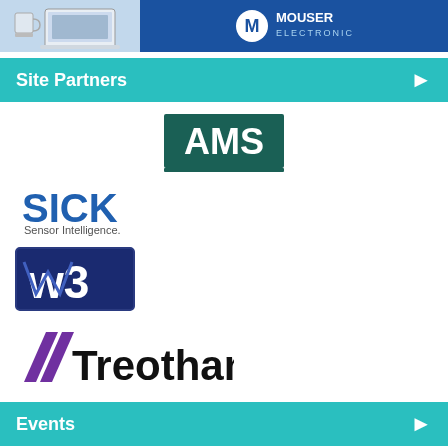[Figure (illustration): Mouser Electronics banner advertisement with laptop imagery and Mouser Electronics logo on blue background]
Site Partners
[Figure (logo): AMS logo – white text on dark teal/green rectangular background]
[Figure (logo): SICK Sensor Intelligence logo – blue bold SICK text with Sensor Intelligence. tagline]
[Figure (logo): WB logo – dark blue stylized W3 letters in a rectangular box]
[Figure (logo): Treotham logo – black bold Treotham text with purple diagonal stripe marks]
Events
ROKLive 2022 Sydney
Modern Manufacturing Expo Sydney